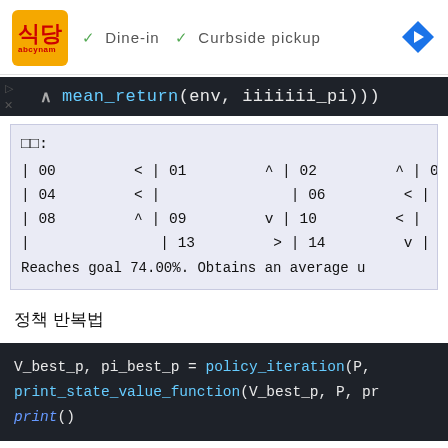[Figure (screenshot): Ad banner showing a restaurant logo with orange background, checkmarks for Dine-in and Curbside pickup, and a blue navigation diamond icon on the right.]
mean_return(env, iiiiiii_pi)))
□□:
| 00   < | 01   ^ | 02   ^ | 03
| 04   < |         | 06   < |
| 08   ^ | 09   v | 10   < |
|         | 13   > | 14   v |
Reaches goal 74.00%. Obtains an average u
정책 반복법
V_best_p, pi_best_p = policy_iteration(P,
print_state_value_function(V_best_p, P, pr
print()